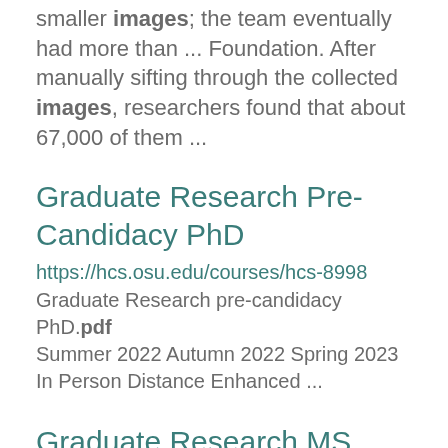smaller images; the team eventually had more than ... Foundation. After manually sifting through the collected images, researchers found that about 67,000 of them ...
Graduate Research Pre-Candidacy PhD
https://hcs.osu.edu/courses/hcs-8998 Graduate Research pre-candidacy PhD.pdf Summer 2022 Autumn 2022 Spring 2023 In Person Distance Enhanced ...
Graduate Research MS
https://hcs.osu.edu/courses/hcs-7999